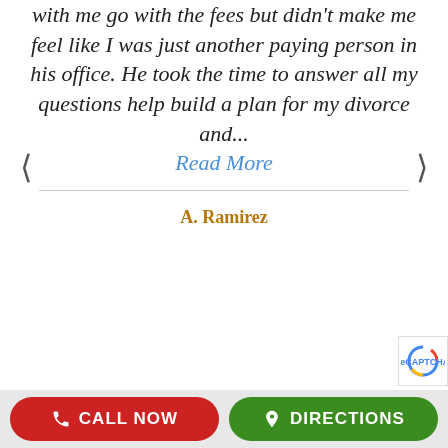with me go with the fees but didn't make me feel like I was just another paying person in his office. He took the time to answer all my questions help build a plan for my divorce and...
Read More
A. Ramirez
CALL NOW
DIRECTIONS